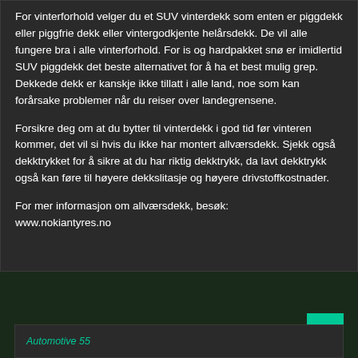For vinterforhold velger du et SUV vinterdekk som enten er piggdekk eller piggfrie dekk eller vintergodkjente helårsdekk. De vil alle fungere bra i alle vinterforhold. For is og hardpakket snø er imidlertid SUV piggdekk det beste alternativet for å ha et best mulig grep. Dekkede dekk er kanskje ikke tillatt i alle land, noe som kan forårsake problemer når du reiser over landegrensene.
Forsikre deg om at du bytter til vinterdekk i god tid før vinteren kommer, det vil si hvis du ikke har montert allværsdekk. Sjekk også dekktrykket for å sikre at du har riktig dekktrykk, da lavt dekktrykk også kan føre til høyere dekkslitasje og høyere drivstoffkostnader.
For mer informasjon om allværsdekk, besøk:
www.nokiantyres.no
Automotive 55